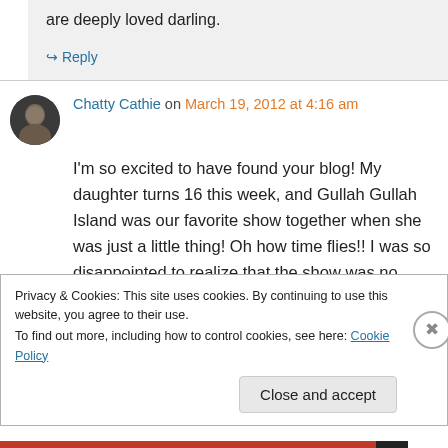are deeply loved darling.
↪ Reply
Chatty Cathie on March 19, 2012 at 4:16 am
I'm so excited to have found your blog! My daughter turns 16 this week, and Gullah Gullah Island was our favorite show together when she was just a little thing! Oh how time flies!! I was so disappointed to realize that the show was no
Privacy & Cookies: This site uses cookies. By continuing to use this website, you agree to their use.
To find out more, including how to control cookies, see here: Cookie Policy
Close and accept